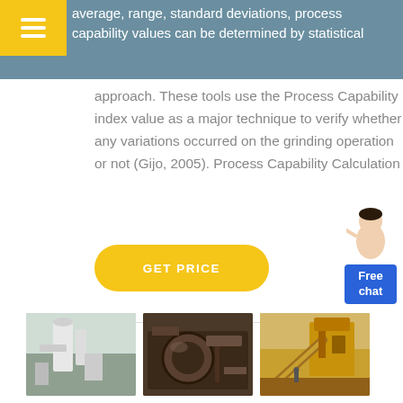average, range, standard deviations, process capability values can be determined by statistical
approach. These tools use the Process Capability index value as a major technique to verify whether any variations occurred on the grinding operation or not (Gijo, 2005). Process Capability Calculation
[Figure (illustration): Customer service representative illustration with 'Free chat' button widget]
[Figure (photo): GET PRICE button - yellow rounded rectangle]
[Figure (photo): Three industrial grinding/mining machine photos in a row at the bottom of the page]